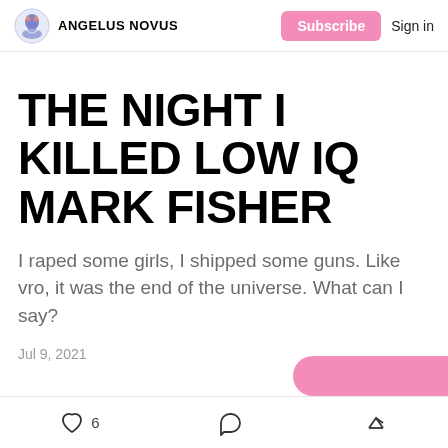ANGELUS NOVUS | Subscribe | Sign in
THE NIGHT I KILLED LOW IQ MARK FISHER
I raped some girls, I shipped some guns. Like vro, it was the end of the universe. What can I say?
Jul 9, 2021